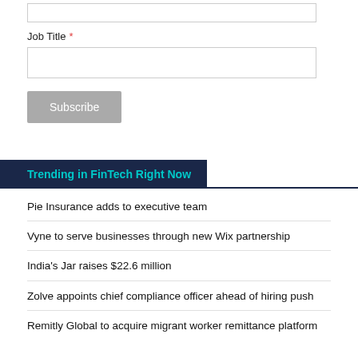[Figure (other): Empty text input field at top of form]
Job Title *
[Figure (other): Empty text input field for Job Title]
Subscribe
Trending in FinTech Right Now
Pie Insurance adds to executive team
Vyne to serve businesses through new Wix partnership
India's Jar raises $22.6 million
Zolve appoints chief compliance officer ahead of hiring push
Remitly Global to acquire migrant worker remittance platform